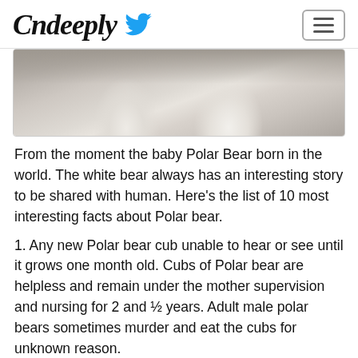Ondeeply [Twitter logo] [hamburger menu]
[Figure (photo): Close-up photo of polar bear fur, showing white fluffy fur of what appears to be two polar bears side by side]
From the moment the baby Polar Bear born in the world. The white bear always has an interesting story to be shared with human. Here's the list of 10 most interesting facts about Polar bear.
1. Any new Polar bear cub unable to hear or see until it grows one month old. Cubs of Polar bear are helpless and remain under the mother supervision and nursing for 2 and ½ years. Adult male polar bears sometimes murder and eat the cubs for unknown reason.